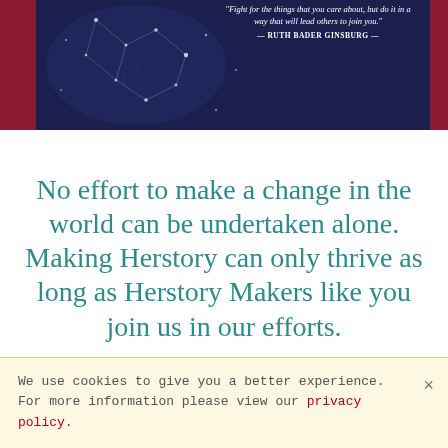[Figure (photo): Dark blue/navy hero banner with star constellation graphic on left, quote text on right. Red bars on sides.]
"Fight for the things that you care about, but do it in a way that will lead others to join you." — RUTH BADER GINSBURG —
No effort to make a change in the world can be undertaken alone. Making Herstory can only thrive as long as Herstory Makers like you join us in our efforts.
Our Herstory Makers come from al... Fr... ch... pl...
[Figure (photo): Photo of people at a table with Lipton products visible]
We use cookies to give you a better experience. For more information please view our privacy policy.